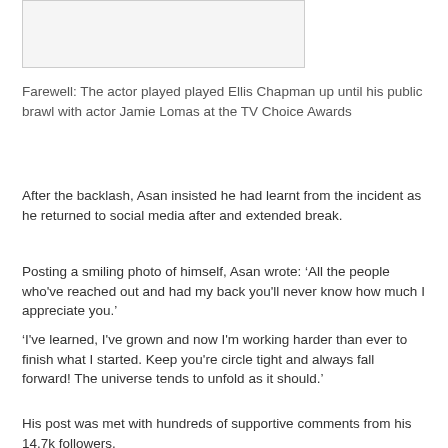[Figure (photo): Image placeholder box at top of page]
Farewell: The actor played played Ellis Chapman up until his public brawl with actor Jamie Lomas at the TV Choice Awards
After the backlash, Asan insisted he had learnt from the incident as he returned to social media after and extended break.
Posting a smiling photo of himself, Asan wrote: ‘All the people who've reached out and had my back you'll never know how much I appreciate you.’
‘I've learned, I've grown and now I'm working harder than ever to finish what I started. Keep you're circle tight and always fall forward! The universe tends to unfold as it should.’
His post was met with hundreds of supportive comments from his 14.7k followers.
During the brawl in September, the extras were seen throwing